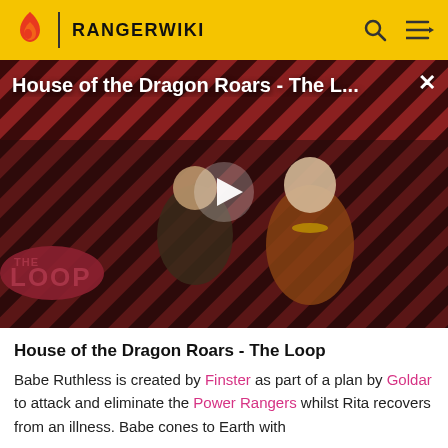RANGERWIKI
[Figure (screenshot): Video thumbnail for 'House of the Dragon Roars - The L...' showing two characters from a TV show against a red and black diagonal striped background, with a white play button triangle in the center and 'THE LOOP' branding in the lower left. A close (X) button appears top right.]
House of the Dragon Roars - The Loop
Babe Ruthless is created by Finster as part of a plan by Goldar to attack and eliminate the Power Rangers whilst Rita recovers from an illness. Babe cones to Earth with